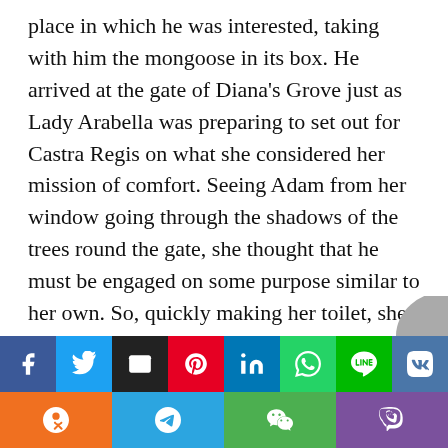place in which he was interested, taking with him the mongoose in its box. He arrived at the gate of Diana's Grove just as Lady Arabella was preparing to set out for Castra Regis on what she considered her mission of comfort. Seeing Adam from her window going through the shadows of the trees round the gate, she thought that he must be engaged on some purpose similar to her own. So, quickly making her toilet, she quietly left the house, and, taking advantage of every shadow and substance which could hide her, followed him on his walk.
Oolanga, the experienced tracker, followed her, but
[Figure (infographic): Social media share buttons row 1: Facebook (blue), Twitter (light blue), Email (black), Pinterest (red), LinkedIn (blue), WhatsApp (green), Line (green), VK (blue). Row 2: Odnoklassniki (orange), Telegram (light blue), WeChat (green), Viber (purple).]